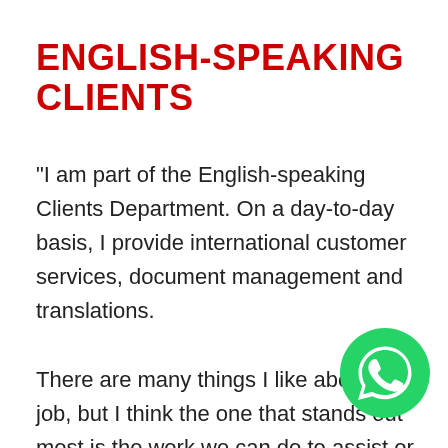ENGLISH-SPEAKING CLIENTS
"I am part of the English-speaking Clients Department. On a day-to-day basis, I provide international customer services, document management and translations.

There are many things I like about my job, but I think the one that stands out most is the work we can do to assist or
[Figure (logo): WhatsApp logo — green circle with white phone/speech bubble icon]